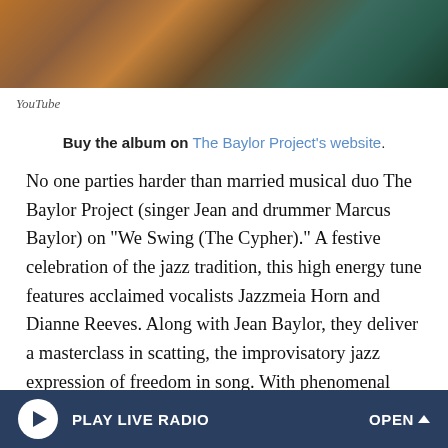[Figure (photo): Partial photo of The Baylor Project musicians in colorful attire, cropped at top of page]
YouTube
Buy the album on The Baylor Project's website.
No one parties harder than married musical duo The Baylor Project (singer Jean and drummer Marcus Baylor) on "We Swing (The Cypher)." A festive celebration of the jazz tradition, this high energy tune features acclaimed vocalists Jazzmeia Horn and Dianne Reeves. Along with Jean Baylor, they deliver a masterclass in scatting, the improvisatory jazz expression of freedom in song. With phenomenal displays of vocal capacity, range and a richness in sound, each woman offers an exceptional interpretation of the verse and the hook — "Why must we swing so hard?" The answer? Because
PLAY LIVE RADIO   OPEN ^